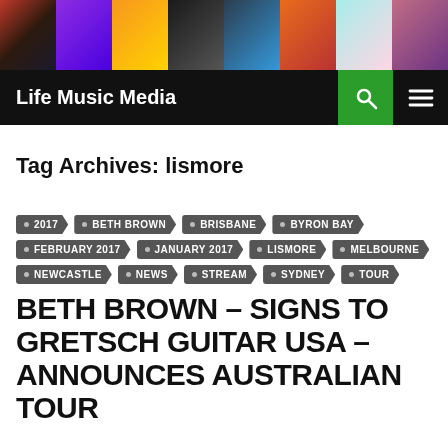[Figure (photo): Header photo strip showing concert/music performance photos across multiple cells]
Life Music Media
Tag Archives: lismore
2017
BETH BROWN
BRISBANE
BYRON BAY
FEBRUARY 2017
JANUARY 2017
LISMORE
MELBOURNE
NEWCASTLE
NEWS
STREAM
SYDNEY
TOUR
BETH BROWN – SIGNS TO GRETSCH GUITAR USA – ANNOUNCES AUSTRALIAN TOUR